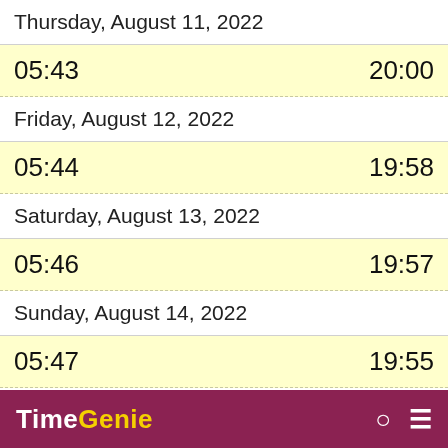Thursday, August 11, 2022
05:43    20:00
Friday, August 12, 2022
05:44    19:58
Saturday, August 13, 2022
05:46    19:57
Sunday, August 14, 2022
05:47    19:55
Monday, August 15, 2022
TimeGenie